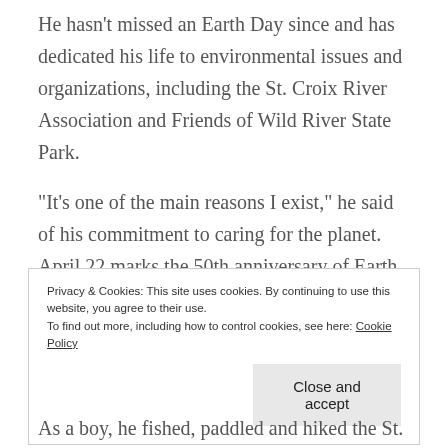He hasn't missed an Earth Day since and has dedicated his life to environmental issues and organizations, including the St. Croix River Association and Friends of Wild River State Park.
“It’s one of the main reasons I exist,” he said of his commitment to caring for the planet. April 22 marks the 50th anniversary of Earth Day, a story with origins closer to home than some might know.
Privacy & Cookies: This site uses cookies. By continuing to use this website, you agree to their use. To find out more, including how to control cookies, see here: Cookie Policy
Close and accept
As a boy, he fished, paddled and hiked the St.